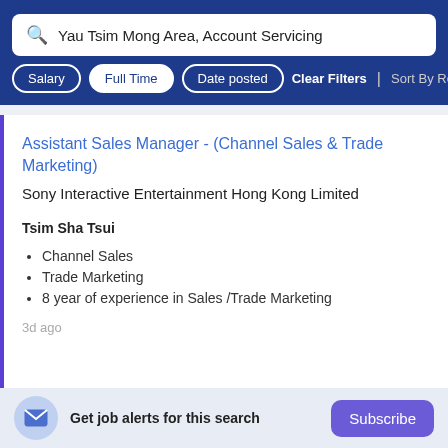Yau Tsim Mong Area, Account Servicing
Salary | Full Time | Date posted | Clear Filters | Sort By Rele…
Assistant Sales Manager - (Channel Sales & Trade Marketing)
Sony Interactive Entertainment Hong Kong Limited
Tsim Sha Tsui
Channel Sales
Trade Marketing
8 year of experience in Sales /Trade Marketing
3d ago
Get job alerts for this search
Subscribe